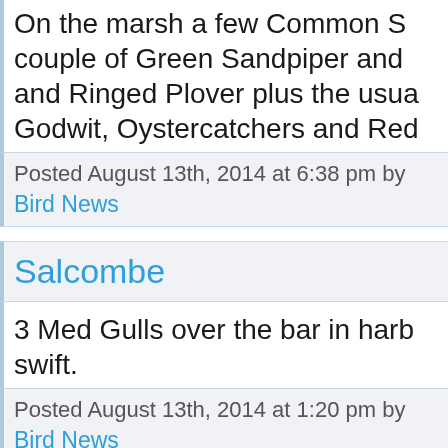On the marsh a few Common S... couple of Green Sandpiper and ... and Ringed Plover plus the usua... Godwit, Oystercatchers and Red...
Posted August 13th, 2014 at 6:38 pm by
Bird News
Salcombe
3 Med Gulls over the bar in harb... swift.
Posted August 13th, 2014 at 1:20 pm by
Bird News